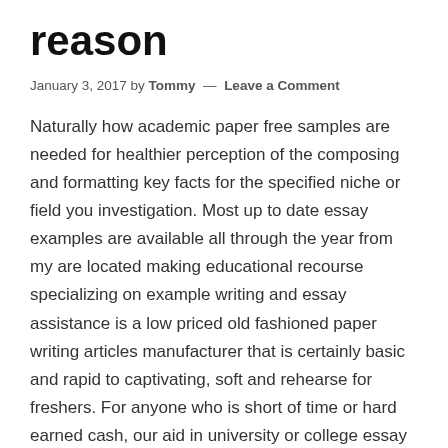reason
January 3, 2017 by Tommy — Leave a Comment
Naturally how academic paper free samples are needed for healthier perception of the composing and formatting key facts for the specified niche or field you investigation. Most up to date essay examples are available all through the year from my are located making educational recourse specializing on example writing and essay assistance is a low priced old fashioned paper writing articles manufacturer that is certainly basic and rapid to captivating, soft and rehearse for freshers. For anyone who is short of time or hard earned cash, our aid in university or college essay is straightforward and moderately priced even. Really, entirely translucent educational coming up with guidance is at your disposal at the time you can not discover ways to get going on or